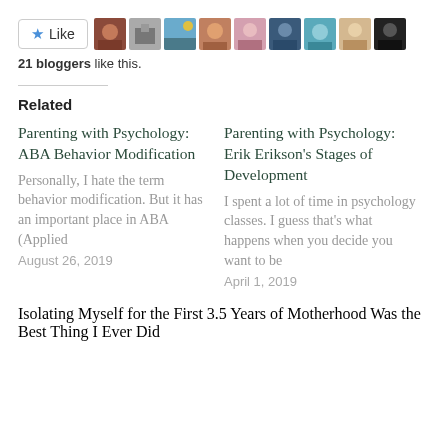[Figure (other): Like button and blogger avatar strip showing 21 bloggers like this]
21 bloggers like this.
Related
Parenting with Psychology: ABA Behavior Modification
Personally, I hate the term behavior modification. But it has an important place in ABA (Applied
August 26, 2019
Parenting with Psychology: Erik Erikson's Stages of Development
I spent a lot of time in psychology classes. I guess that's what happens when you decide you want to be
April 1, 2019
Isolating Myself for the First 3.5 Years of Motherhood Was the Best Thing I Ever Did